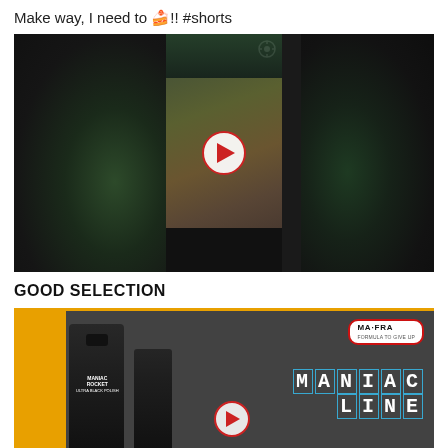Make way, I need to 🍰!! #shorts
[Figure (screenshot): Video thumbnail showing a cupcake with colorful frosting being held in a hand. Center panel shows a YouTube Shorts style vertical video with a play button overlay.]
GOOD SELECTION
[Figure (screenshot): Video thumbnail for MA·FRA MANIAC LINE product advertisement showing dark bottles on a dark background with orange accent color and the MA·FRA logo in top right.]